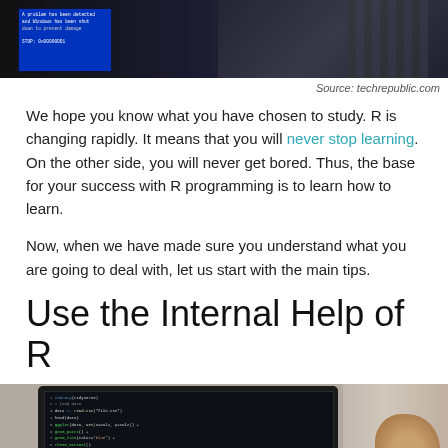[Figure (photo): Dark background image showing a blue computer error screen on left and a person in striped shirt on right]
Source: techrepublic.com
We hope you know what you have chosen to study. R is changing rapidly. It means that you will never stop learning. On the other side, you will never get bored. Thus, the base for your success with R programming is to learn how to learn.
Now, when we have made sure you understand what you are going to deal with, let us start with the main tips.
Use the Internal Help of R
[Figure (photo): Laptop showing code editor with green syntax-highlighted code on dark background, and a blurred person on the right side]